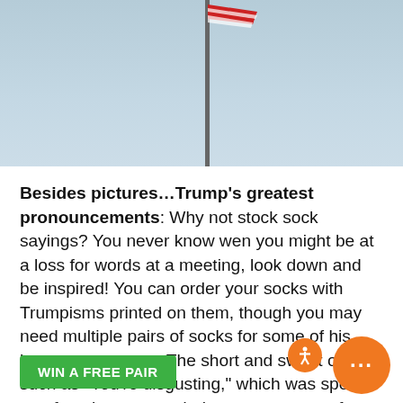[Figure (photo): A flag on a flagpole against a light blue sky, photo cropped to show upper portion of pole with flag at top.]
Besides pictures...Trump’s greatest pronouncements: Why not stock sock sayings? You never know wen you might be at a loss for words at a meeting, look down and be inspired! You can order your socks with Trumpisms printed on them, though you may need multiple pairs of socks for some of his longer statements. The short and sweet ones, such as "You’re disgusting," which was spoken to a female attorney during a court case after she requested a break to pump breast milk in order to feed her three-month-old child, Or "Thanks, sweetie, the nice ... ale survivor, will fit nicely on a ..."